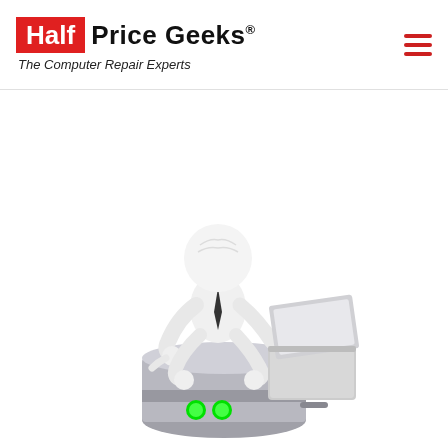Half Price Geeks® — The Computer Repair Experts
[Figure (illustration): 3D illustration of a white humanoid figure wearing a tie, sitting cross-legged on top of a silver server/cylinder unit with two green indicator lights, working on a laptop computer. The figure is pointing at the laptop screen. White background.]